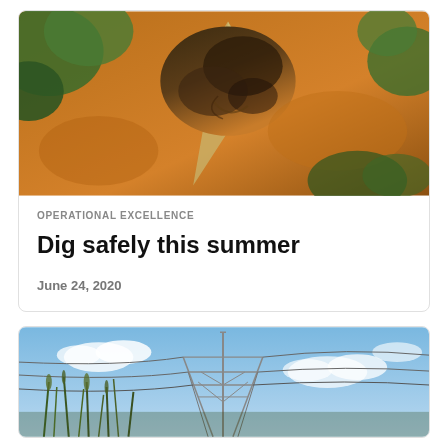[Figure (photo): Close-up photo of a shovel or spade lifting a clump of dark moist soil/earth against a background of orange-brown dirt and green plants in sunlight.]
OPERATIONAL EXCELLENCE
Dig safely this summer
June 24, 2020
[Figure (photo): Photo of a large electrical transmission tower/pylon against a blue sky with scattered clouds, with tall grass in the foreground and power lines visible.]